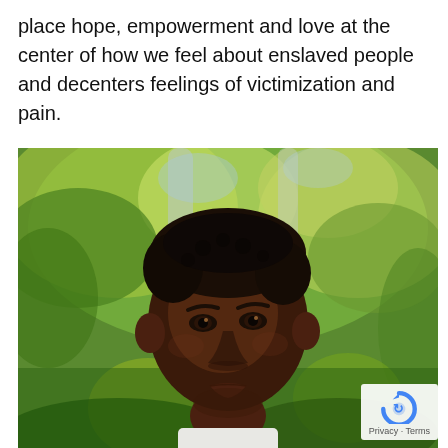place hope, empowerment and love at the center of how we feel about enslaved people and decenters feelings of victimization and pain.
[Figure (illustration): A painted portrait of a young Black boy with short curly hair, wearing a white shirt, set against a lush green and yellow painted foliage background. The style is an oil or acrylic painting with expressive brushwork.]
Privacy · Terms